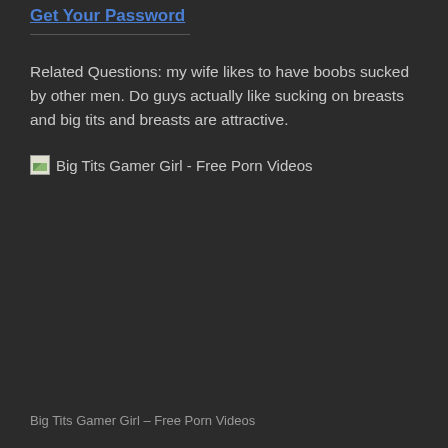Get Your Password
Related Questions: my wife likes to have boobs sucked by other men. Do guys actually like sucking on breasts and big tits and breasts are attractive.
[Figure (other): Broken image placeholder with alt text: Big Tits Gamer Girl - Free Porn Videos]
Big Tits Gamer Girl – Free Porn Videos